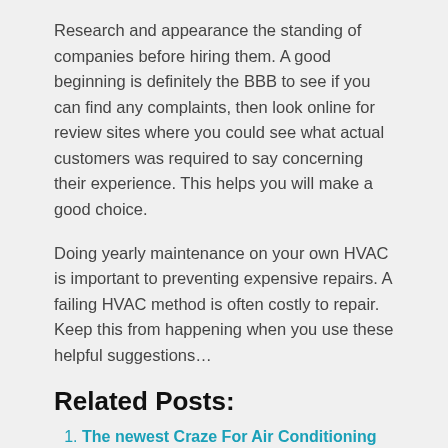Research and appearance the standing of companies before hiring them. A good beginning is definitely the BBB to see if you can find any complaints, then look online for review sites where you could see what actual customers was required to say concerning their experience. This helps you will make a good choice.
Doing yearly maintenance on your own HVAC is important to preventing expensive repairs. A failing HVAC method is often costly to repair. Keep this from happening when you use these helpful suggestions…
Related Posts:
The newest Craze For Air Conditioning Repair Corpus Christi.
One Elements To know About Heatingandcooling.
Learn All About Heatingandcooling From This Politician.
3 Unconventional Data About League City tx ac repair and install That you choose to Can't Discover From